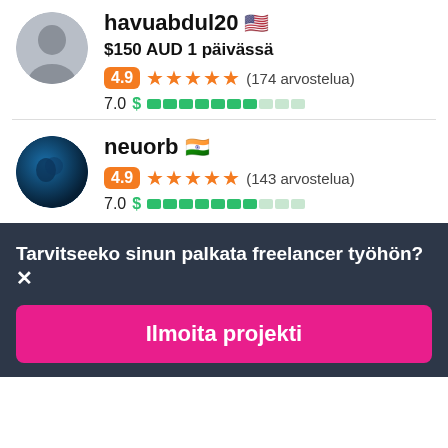havuabdul20 🇺🇸
$150 AUD 1 päivässä
4.9 ★★★★★ (174 arvostelua)
7.0 $ ████████░░
neuorb 🇮🇳
4.9 ★★★★★ (143 arvostelua)
7.0 $ ████████░░
Tarvitseeko sinun palkata freelancer työhön?✕
Ilmoita projekti